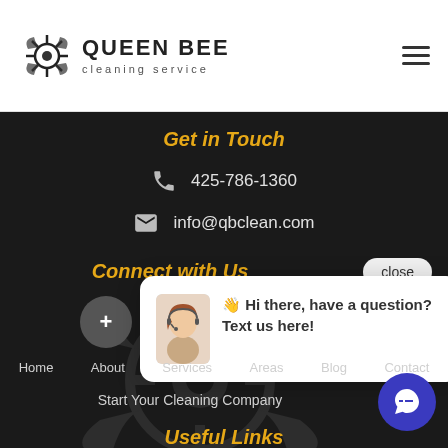QUEEN BEE cleaning service
Get in Touch
425-786-1360
info@qbclean.com
Connect with Us
close
👋 Hi there, have a question? Text us here!
Home  About  Services  Areas  Blog  Contact
Start Your Cleaning Company
Useful Links